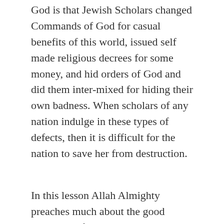God is that Jewish Scholars changed Commands of God for casual benefits of this world, issued self made religious decrees for some money, and hid orders of God and did them inter-mixed for hiding their own badness. When scholars of any nation indulge in these types of defects, then it is difficult for the nation to save her from destruction.
In this lesson Allah Almighty preaches much about the good conduct. Life in this world and its benefits are for a few days. Due to this reason He advised the Jews not to take decisions by changing His orders for the sake of contemptible gifts. Because the reward of telling correctly about My orders is better for both the worlds